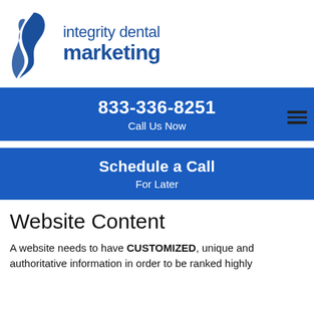[Figure (logo): Integrity Dental Marketing logo with blue flame icon and company name in blue text]
833-336-8251
Call Us Now
Schedule a Call
For Later
Website Content
A website needs to have CUSTOMIZED, unique and authoritative information in order to be ranked highly